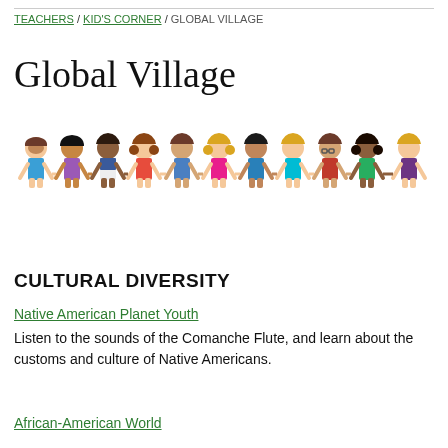TEACHERS / KID'S CORNER / GLOBAL VILLAGE
Global Village
[Figure (illustration): Row of diverse cartoon children holding hands, dressed in colorful outfits representing different backgrounds]
CULTURAL DIVERSITY
Native American Planet Youth
Listen to the sounds of the Comanche Flute, and learn about the customs and culture of Native Americans.
African-American World